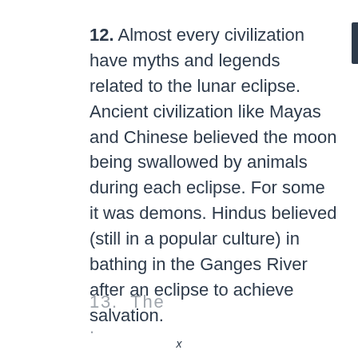12. Almost every civilization have myths and legends related to the lunar eclipse. Ancient civilization like Mayas and Chinese believed the moon being swallowed by animals during each eclipse. For some it was demons. Hindus believed (still in a popular culture) in bathing in the Ganges River after an eclipse to achieve salvation.
13. The ... (partial, cut off)